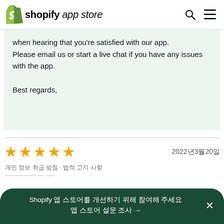shopify app store
when hearing that you're satisfied with our app.
Please email us or start a live chat if you have any issues with the app.

Best regards,
2022年3月20日
Shopify 앱 스토어를 개선하기 위해 참여해 주세요 →
개인 정보 취급 방침 · 법적 고지 사항